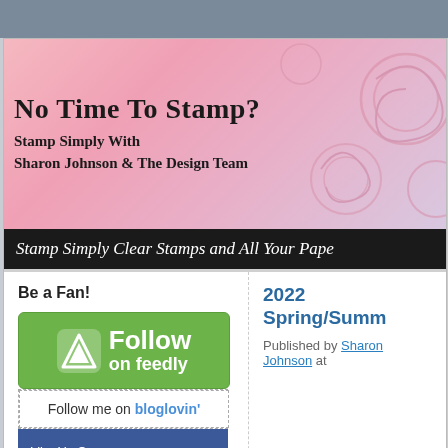No Time To Stamp?
Stamp Simply With Sharon Johnson & The Design Team
Stamp Simply Clear Stamps and All Your Pape…
Be a Fan!
[Figure (logo): Follow on Feedly green button with Feedly logo]
[Figure (logo): Follow me on bloglovin button]
[Figure (logo): Like Us On facebook blue button]
2022 Spring/Summ…
Published by Sharon Johnson at…